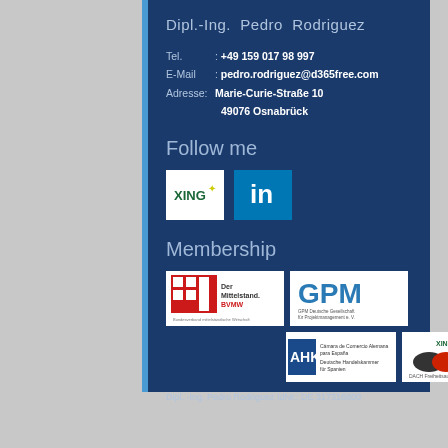Dipl.-Ing. Pedro Rodriguez
Tel.     : +49 159 017 98 997
E-Mail  : pedro.rodriguez@d365free.com
Adresse: Marie-Curie-Straße 10
          49076 Osnabrück
Follow me
[Figure (logo): XING social network logo on white background]
[Figure (logo): LinkedIn logo on blue background]
Membership
[Figure (logo): Der Mittelstand. BVMW logo]
[Figure (logo): GPM Deutsche Gesellschaft für Projektmanagement e.V. logo]
[Figure (logo): AHK Cámara de Comercio Alemana para España logo]
[Figure (logo): XING DACH Freiheitsaufter Gruppe logo]
Dipl. -Ing. Pedro Rodriguez IdNr.: DE 317316800